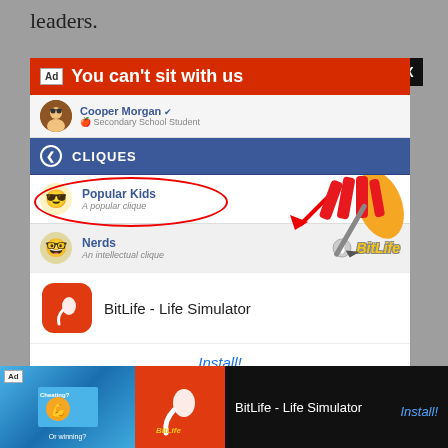leaders.
[Figure (screenshot): BitLife - Life Simulator app advertisement showing a mobile game UI with 'You can't sit with us' header, cliques menu with Popular Kids and Nerds options, and an Install button]
[Figure (screenshot): Bottom banner ad for BitLife - Life Simulator showing app icon and Install button]